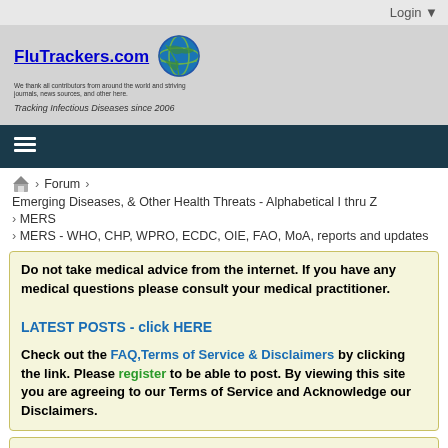Login ▼
[Figure (logo): FluTrackers.com logo with globe icon and tagline 'Tracking Infectious Diseases since 2006']
☰ hamburger menu icon
🏠 > Forum > Emerging Diseases, & Other Health Threats - Alphabetical I thru Z
> MERS
> MERS - WHO, CHP, WPRO, ECDC, OIE, FAO, MoA, reports and updates
Do not take medical advice from the internet. If you have any medical questions please consult your medical practitioner.

LATEST POSTS - click HERE

Check out the FAQ,Terms of Service & Disclaimers by clicking the link. Please register to be able to post. By viewing this site you are agreeing to our Terms of Service and Acknowledge our Disclaimers.
FluTrackers.com Inc. does not provide medical advice.